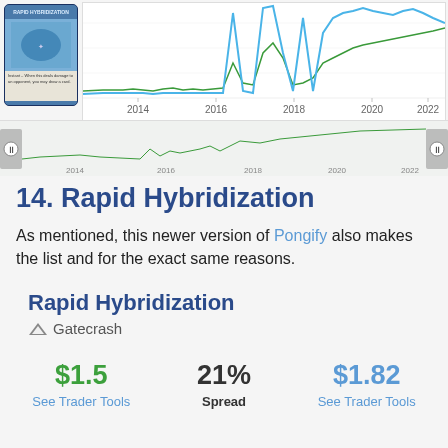[Figure (screenshot): Price history chart for a Magic: The Gathering card showing blue and green lines from 2014 to 2022, with a mini navigator chart below. A card thumbnail is visible on the left.]
14. Rapid Hybridization
As mentioned, this newer version of Pongify also makes the list and for the exact same reasons.
Rapid Hybridization
Gatecrash
| Price | Spread | Price |
| --- | --- | --- |
| $1.5 | 21% | $1.82 |
| See Trader Tools | Spread | See Trader Tools |